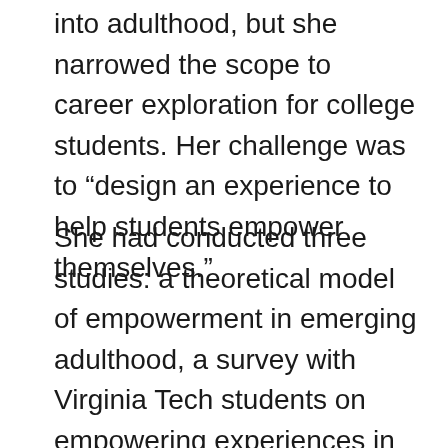into adulthood, but she narrowed the scope to career exploration for college students. Her challenge was to “design an experience to help students empower themselves.”
She had conducted three studies: a theoretical model of empowerment in emerging adulthood, a survey with Virginia Tech students on empowering experiences in college, and a 10-week career exploration curriculum she designed and implemented for first-year students with undecided or changing majors. The curriculum, based in participatory design and implemented in